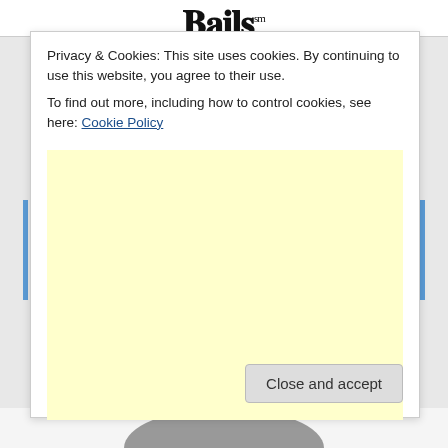DailySm [logo, partially visible]
Privacy & Cookies: This site uses cookies. By continuing to use this website, you agree to their use.
To find out more, including how to control cookies, see here: Cookie Policy
[Figure (other): Large light yellow advertisement or placeholder box]
Close and accept